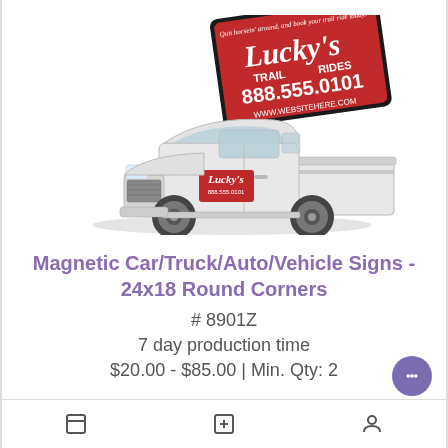[Figure (illustration): A white pickup truck with a Lucky's Trail Rides magnetic sign on the door. Above the truck is a large red sign reading 'Lucky's Trail Rides, 888.555.0101, WWW.WEBSITEHERE.COM' with the tagline 'Quit horsing around, and book your trail ride today!']
Magnetic Car/Truck/Auto/Vehicle Signs - 24x18 Round Corners
# 8901Z
7 day production time
$20.00 - $85.00 | Min. Qty: 2